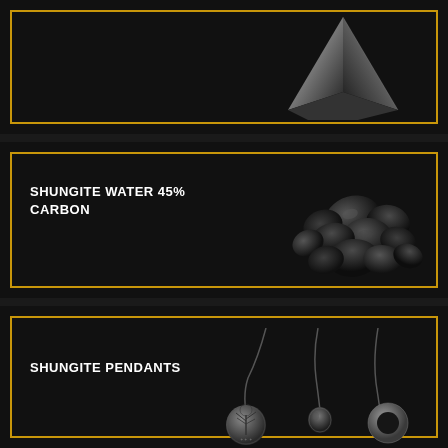[Figure (photo): Dark panel with gold border containing a shiny black shungite pyramid on the right side]
[Figure (photo): Dark panel with gold border, text 'SHUNGITE WATER 45% CARBON' on the left, pile of black shungite rocks on the right]
SHUNGITE WATER 45% CARBON
[Figure (photo): Dark panel with gold border, text 'SHUNGITE PENDANTS' on the left, three shungite pendant necklaces on the right]
SHUNGITE PENDANTS